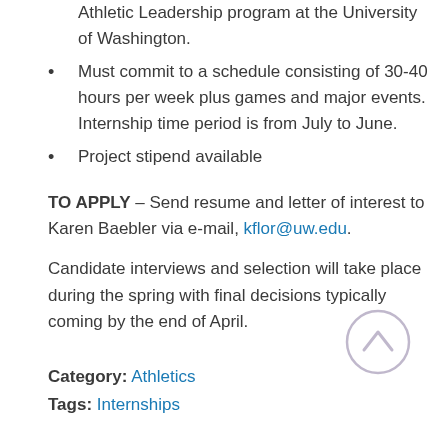Athletic Leadership program at the University of Washington.
Must commit to a schedule consisting of 30-40 hours per week plus games and major events. Internship time period is from July to June.
Project stipend available
TO APPLY – Send resume and letter of interest to Karen Baebler via e-mail, kflor@uw.edu.
Candidate interviews and selection will take place during the spring with final decisions typically coming by the end of April.
Category: Athletics
Tags: Internships